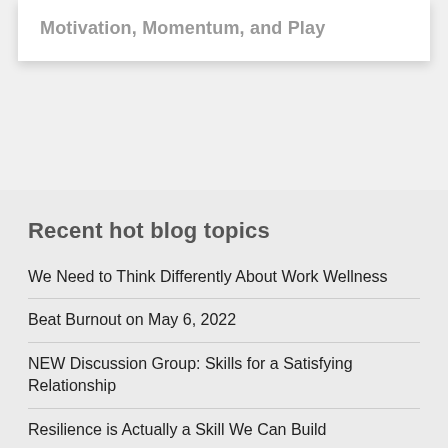Motivation, Momentum, and Play
Recent hot blog topics
We Need to Think Differently About Work Wellness
Beat Burnout on May 6, 2022
NEW Discussion Group: Skills for a Satisfying Relationship
Resilience is Actually a Skill We Can Build